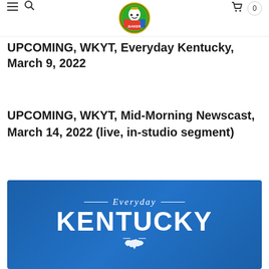Inebriated Baker logo header with hamburger menu, search icon, logo, cart icon and count 0
UPCOMING, WKYT, Everyday Kentucky, March 9, 2022
UPCOMING, WKYT, Mid-Morning Newscast, March 14, 2022 (live, in-studio segment)
[Figure (logo): Everyday Kentucky TV show logo on blue background with decorative lines flanking the word Everyday above large KENTUCKY text with a Kentucky state silhouette below]